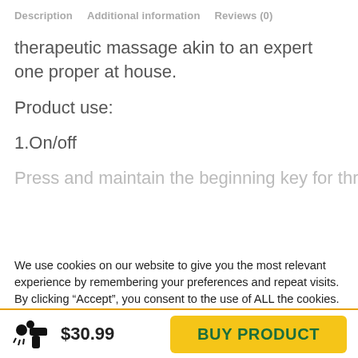Description   Additional information   Reviews (0)
therapeutic massage akin to an expert one proper at house.
Product use:
1.On/off
Press and maintain the beginning key for three
We use cookies on our website to give you the most relevant experience by remembering your preferences and repeat visits. By clicking “Accept”, you consent to the use of ALL the cookies.
Do not sell my personal information.
$30.99   BUY PRODUCT